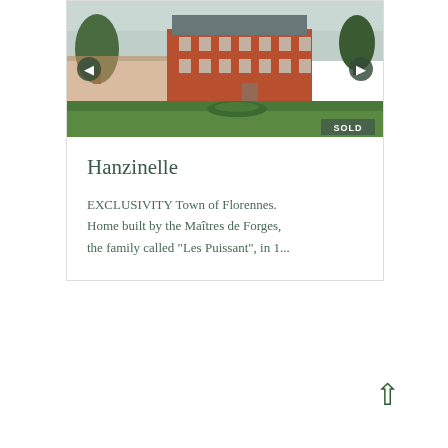[Figure (photo): Exterior photo of a large red-brick manor house (Hanzinelle) with a grey mansard roof, surrounded by green lawn and trees, with a grey overcast sky. Navigation arrows on left and right. SOLD badge in bottom right.]
Hanzinelle
EXCLUSIVITY Town of Florennes. Home built by the Maîtres de Forges, the family called "Les Puissant", in 1...